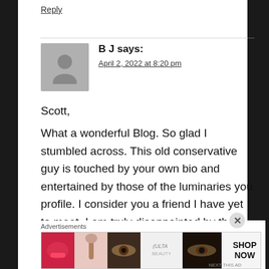Reply
B J says:
April 2, 2022 at 8:20 pm
Scott,
What a wonderful Blog. So glad I stumbled across. This old conservative guy is touched by your own bio and entertained by those of the luminaries you profile. I consider you a friend I have yet to meet. I am truly disappointed by the removal of a large number of swing years
Advertisements
[Figure (other): ULTA beauty advertisement banner with makeup imagery and 'SHOP NOW' call to action]